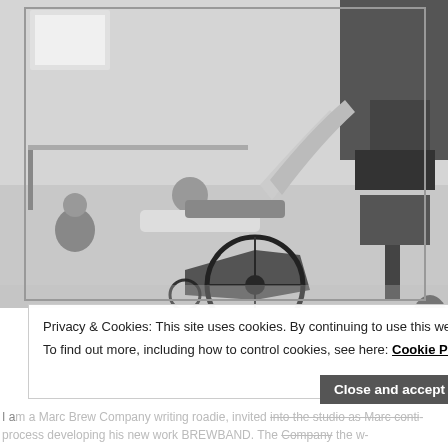[Figure (photo): Black and white photograph of a dancer performing an acrobatic move with a wheelchair in a rehearsal studio. A person is horizontal/flying above the wheelchair while another person is on the floor. Other people and music equipment visible in the background.]
Privacy & Cookies: This site uses cookies. By continuing to use this website, you agree to their use.
To find out more, including how to control cookies, see here: Cookie Policy
Close and accept
I am a Marc Brew Company writing roadie, invited into the studio as Marc conti- process developing his new work BREWBAND. The [Company] the w- super band — that blurs boundaries and challenges people's perception of de-